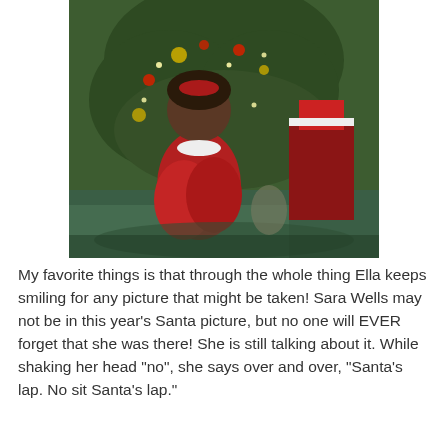[Figure (photo): A child sitting on Santa's lap in front of a decorated Christmas tree. The child is wearing a red outfit. Another person in Christmas attire is visible to the right. Green fabric is draped on the floor.]
My favorite things is that through the whole thing Ella keeps smiling for any picture that might be taken!  Sara Wells may not be in this year's Santa picture, but no one will EVER forget that she was there!  She is still talking about it.  While shaking her head "no", she says over and over, "Santa's lap.  No sit Santa's lap."